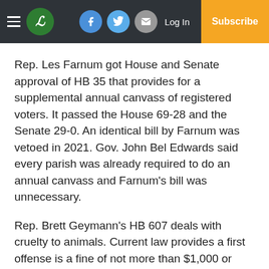L [logo] | Facebook | Twitter | Email | Log In | Subscribe
Rep. Les Farnum got House and Senate approval of HB 35 that provides for a supplemental annual canvass of registered voters. It passed the House 69-28 and the Senate 29-0. An identical bill by Farnum was vetoed in 2021. Gov. John Bel Edwards said every parish was already required to do an annual canvass and Farnum’s bill was unnecessary.
Rep. Brett Geymann’s HB 607 deals with cruelty to animals. Current law provides a first offense is a fine of not more than $1,000 or imprisonment for not more than six months or both. Geymann’s measures